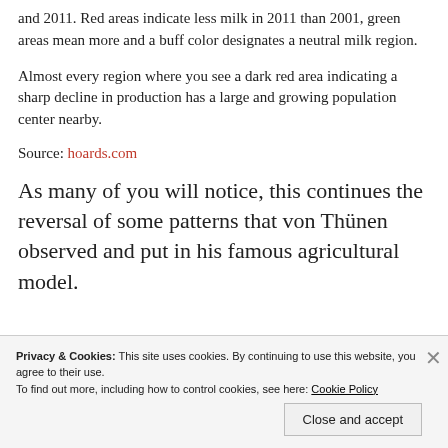and 2011. Red areas indicate less milk in 2011 than 2001, green areas mean more and a buff color designates a neutral milk region.
Almost every region where you see a dark red area indicating a sharp decline in production has a large and growing population center nearby.
Source: hoards.com
As many of you will notice, this continues the reversal of some patterns that von Thünen observed and put in his famous agricultural model.
Privacy & Cookies: This site uses cookies. By continuing to use this website, you agree to their use.
To find out more, including how to control cookies, see here: Cookie Policy
Close and accept